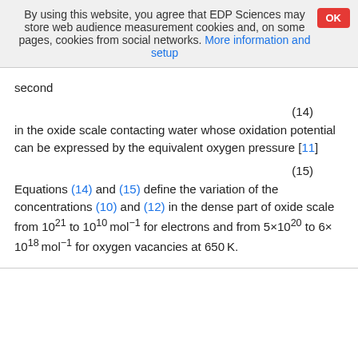By using this website, you agree that EDP Sciences may store web audience measurement cookies and, on some pages, cookies from social networks. More information and setup
second
in the oxide scale contacting water whose oxidation potential can be expressed by the equivalent oxygen pressure [11]
Equations (14) and (15) define the variation of the concentrations (10) and (12) in the dense part of oxide scale from 10^21 to 10^10 mol^-1 for electrons and from 5×10^20 to 6×10^18 mol^-1 for oxygen vacancies at 650K.